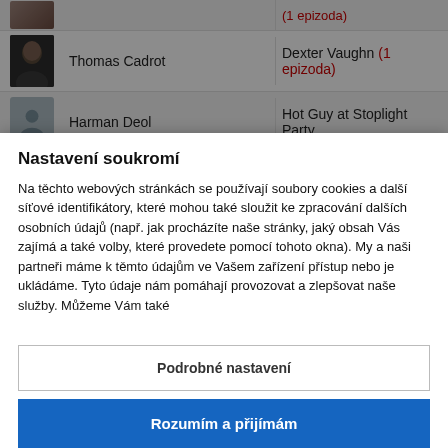| Photo | Actor Name | Role |
| --- | --- | --- |
| [photo] | Thomas Cadrot | Dexter Vaughn (1 epizoda) |
| [avatar] | Harman Deol | Hot Guy at Stoplight Party |
| [avatar] | Jeremy Lacombe | Hot Guy at Stoplight Party |
Nastavení soukromí
Na těchto webových stránkách se používají soubory cookies a další síťové identifikátory, které mohou také sloužit ke zpracování dalších osobních údajů (např. jak procházíte naše stránky, jaký obsah Vás zajímá a také volby, které provedete pomocí tohoto okna). My a naši partneři máme k těmto údajům ve Vašem zařízení přístup nebo je ukládáme. Tyto údaje nám pomáhají provozovat a zlepšovat naše služby. Můžeme Vám také
Podrobné nastavení
Rozumím a přijímám